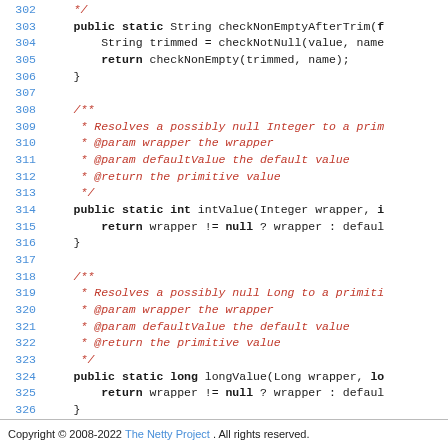[Figure (screenshot): Java source code snippet showing lines 302-327 with syntax highlighting. Blue line numbers, bold black keywords, red italic comments, and normal black code text. Shows methods checkNonEmptyAfterTrim, intValue, and longValue with Javadoc comments.]
Copyright © 2008-2022 The Netty Project. All rights reserved.